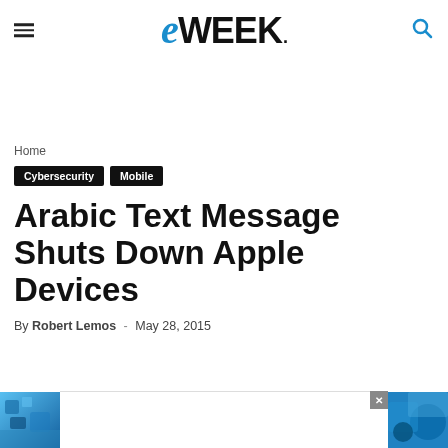eWEEK
Home
Cybersecurity  Mobile
Arabic Text Message Shuts Down Apple Devices
By Robert Lemos - May 28, 2015
[Figure (photo): Blue abstract technology background image on left edge]
[Figure (photo): Blue abstract technology background image on right edge]